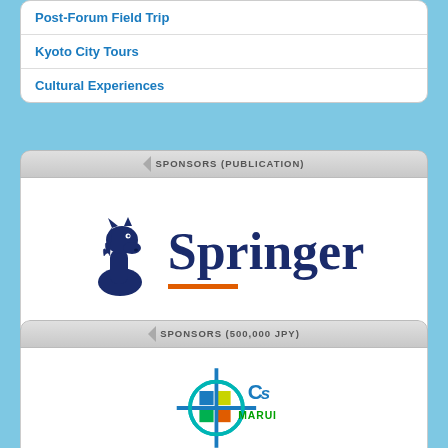Post-Forum Field Trip
Kyoto City Tours
Cultural Experiences
SPONSORS (PUBLICATION)
[Figure (logo): Springer publisher logo with dark navy knight chess piece and orange underline bar]
SPONSORS (500,000 JPY)
[Figure (logo): CS Marui company logo with crosshair/target symbol in blue, teal, orange, green colors]
Marui & Co., Ltd.